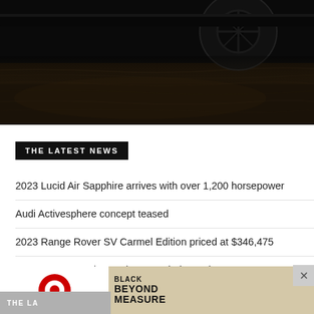[Figure (photo): Dark moody hero image showing a car part (wheel/axle) and a weathered wooden surface in low lighting]
THE LATEST NEWS
2023 Lucid Air Sapphire arrives with over 1,200 horsepower
Audi Activesphere concept teased
2023 Range Rover SV Carmel Edition priced at $346,475
2022 Toyota Tundra Review: Worth the Wait
Acura ZDX to return as an electric SUV in 2024
[Figure (other): Advertisement banner: Target Black Beyond Measure promotional ad with Target bullseye logo]